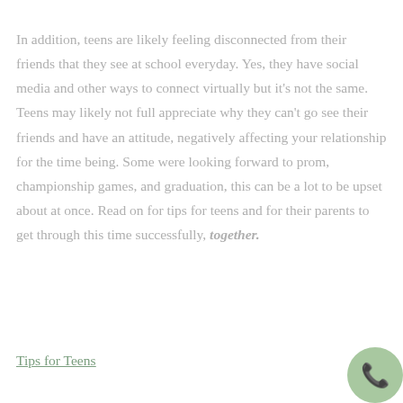In addition, teens are likely feeling disconnected from their friends that they see at school everyday. Yes, they have social media and other ways to connect virtually but it's not the same. Teens may likely not full appreciate why they can't go see their friends and have an attitude, negatively affecting your relationship for the time being. Some were looking forward to prom, championship games, and graduation, this can be a lot to be upset about at once. Read on for tips for teens and for their parents to get through this time successfully, together.
Tips for Teens